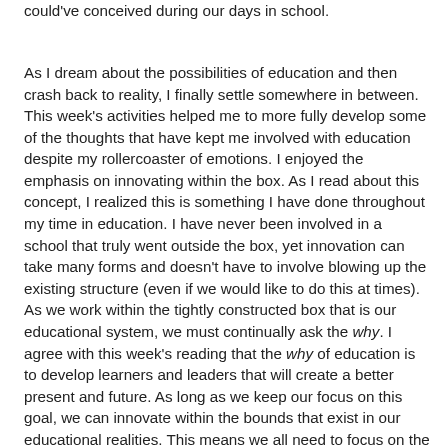could've conceived during our days in school.
As I dream about the possibilities of education and then crash back to reality, I finally settle somewhere in between. This week's activities helped me to more fully develop some of the thoughts that have kept me involved with education despite my rollercoaster of emotions. I enjoyed the emphasis on innovating within the box. As I read about this concept, I realized this is something I have done throughout my time in education. I have never been involved in a school that truly went outside the box, yet innovation can take many forms and doesn't have to involve blowing up the existing structure (even if we would like to do this at times). As we work within the tightly constructed box that is our educational system, we must continually ask the why. I agree with this week's reading that the why of education is to develop learners and leaders that will create a better present and future. As long as we keep our focus on this goal, we can innovate within the bounds that exist in our educational realities. This means we all need to focus on the creation of a new and better way of reaching the students we serve. We must improve upon existing practices to allow us to meet the needs of our